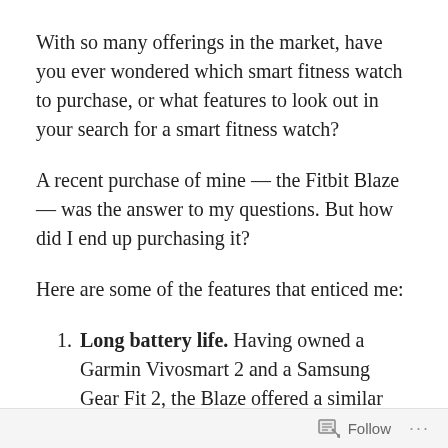With so many offerings in the market, have you ever wondered which smart fitness watch to purchase, or what features to look out in your search for a smart fitness watch?
A recent purchase of mine — the Fitbit Blaze — was the answer to my questions. But how did I end up purchasing it?
Here are some of the features that enticed me:
Long battery life. Having owned a Garmin Vivosmart 2 and a Samsung Gear Fit 2, the Blaze offered a similar lifespan to the
Follow ...